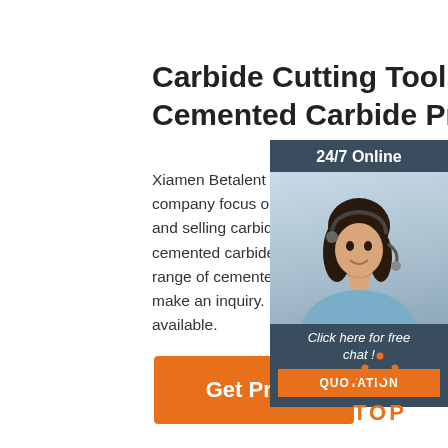Carbide Cutting Tools & Cemented Carbide Products
Xiamen Betalent Carbide Co.,Ltd is a company focus on designing, producing and selling carbide cutting tools and cemented carbide products. Discover range of cemented carbide products make an inquiry. Both standard and custom available.
[Figure (photo): Customer service representative with headset, 24/7 Online chat widget with dark blue background, orange QUOTATION button]
[Figure (other): Orange Get Price button]
[Figure (other): Orange TOP back-to-top button with dotted triangle arrow icon]